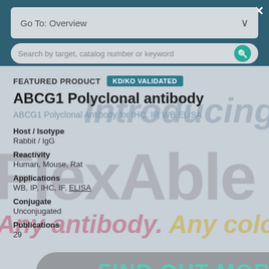Go To: Overview
Search by target, catalog number or keyword
FEATURED PRODUCT  KD/KO VALIDATED
ABCG1 Polyclonal antibody
ABCG1 Polyclonal Antibody for IHC, IP, WB, ELISA
Host / Isotype
Rabbit / IgG
Reactivity
Human, Mouse, Rat
Applications
WB, IP, IHC, IF, ELISA
Conjugate
Unconjugated
Publications
29